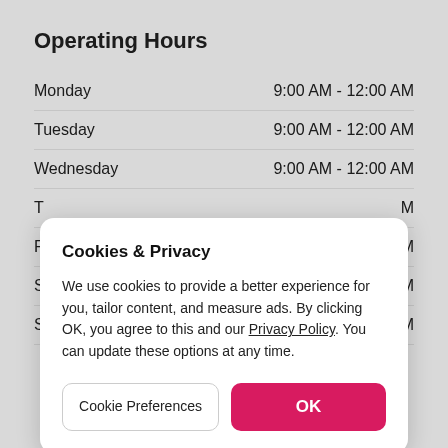Operating Hours
Monday   9:00 AM - 12:00 AM
Tuesday   9:00 AM - 12:00 AM
Wednesday   9:00 AM - 12:00 AM
Cookies & Privacy
We use cookies to provide a better experience for you, tailor content, and measure ads. By clicking OK, you agree to this and our Privacy Policy. You can update these options at any time.
Cookie Preferences
OK